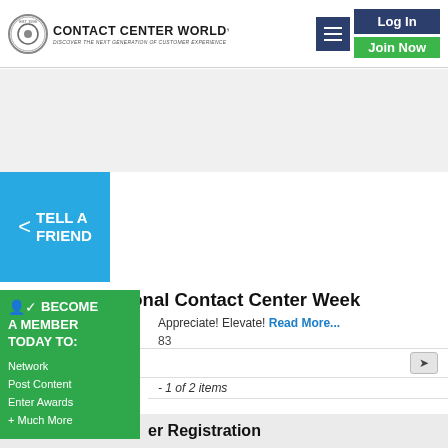Contact Center World — Log In | Join Now
[Figure (screenshot): Blue 'Tell A Friend' share button with share icon]
2022 International Contact Center Week
Appreciate! Elevate! Read More...
83
1 of 2 items
BECOME A MEMBER TODAY TO: Network Post Content Enter Awards + Much More
er Registration